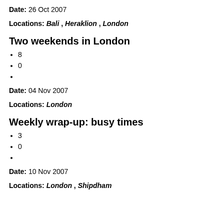Date: 26 Oct 2007
Locations: Bali , Heraklion , London
Two weekends in London
8
0
Date: 04 Nov 2007
Locations: London
Weekly wrap-up: busy times
3
0
Date: 10 Nov 2007
Locations: London , Shipdham